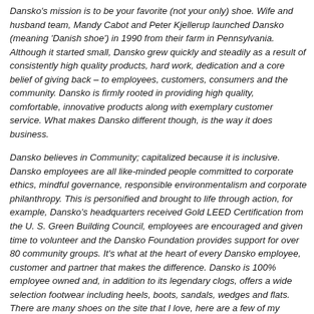Dansko's mission is to be your favorite (not your only) shoe. Wife and husband team, Mandy Cabot and Peter Kjellerup launched Dansko (meaning 'Danish shoe') in 1990 from their farm in Pennsylvania. Although it started small, Dansko grew quickly and steadily as a result of consistently high quality products, hard work, dedication and a core belief of giving back – to employees, customers, consumers and the community. Dansko is firmly rooted in providing high quality, comfortable, innovative products along with exemplary customer service. What makes Dansko different though, is the way it does business.
Dansko believes in Community; capitalized because it is inclusive. Dansko employees are all like-minded people committed to corporate ethics, mindful governance, responsible environmentalism and corporate philanthropy. This is personified and brought to life through action, for example, Dansko's headquarters received Gold LEED Certification from the U. S. Green Building Council, employees are encouraged and given time to volunteer and the Dansko Foundation provides support for over 80 community groups. It's what at the heart of every Dansko employee, customer and partner that makes the difference. Dansko is 100% employee owned and, in addition to its legendary clogs, offers a wide selection footwear including heels, boots, sandals, wedges and flats. There are many shoes on the site that I love, here are a few of my